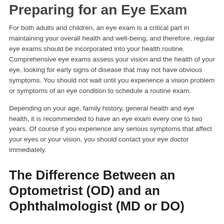Preparing for an Eye Exam
For both adults and children, an eye exam is a critical part in maintaining your overall health and well-being, and therefore, regular eye exams should be incorporated into your health routine. Comprehensive eye exams assess your vision and the health of your eye, looking for early signs of disease that may not have obvious symptoms. You should not wait until you experience a vision problem or symptoms of an eye condition to schedule a routine exam.
Depending on your age, family history, general health and eye health, it is recommended to have an eye exam every one to two years. Of course if you experience any serious symptoms that affect your eyes or your vision, you should contact your eye doctor immediately.
The Difference Between an Optometrist (OD) and an Ophthalmologist (MD or DO)